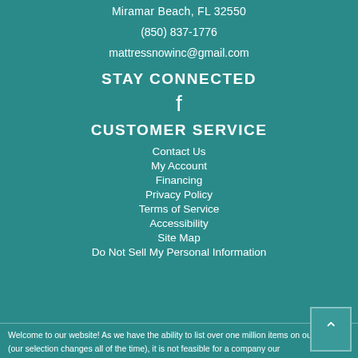Miramar Beach, FL 32550
(850) 837-1776
mattressnowinc@gmail.com
STAY CONNECTED
[Figure (illustration): Facebook icon (letter f)]
CUSTOMER SERVICE
Contact Us
My Account
Financing
Privacy Policy
Terms of Service
Accessibility
Site Map
Do Not Sell My Personal Information
Welcome to our website! As we have the ability to list over one million items on our website (our selection changes all of the time), it is not feasible for a company our